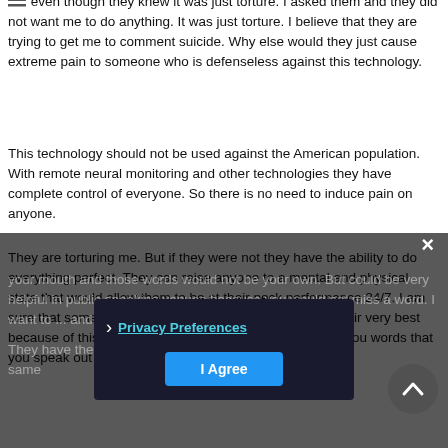even though they knew it was just torture. I asked them and they did not want me to do anything. It was just torture. I believe that they are trying to get me to comment suicide. Why else would they just cause extreme pain to someone who is defenseless against this technology.
This technology should not be used against the American population. With remote neural monitoring and other technologies they have complete control of everyone. So there is no need to induce pain on anyone.
They are torturing me. But if they were not they have the ability to do everything perfect. They can raise anyone to a mental and physical state that would allow them to be at their peck performance 24/7. I am sure that some of the congressman and woman are at their very best because of this technology. They have the ability to give you words that you speak out of your mouth and those words would not be your own. But could be very helpful in public speaking venues because you would not miss a word. I want ... and your staff my not be your own.
They have the ability to bless you or curse you within the same...